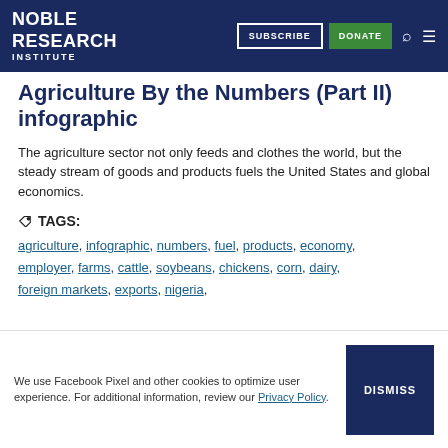Noble Research Institute — SUBSCRIBE  DONATE
Agriculture By the Numbers (Part II) infographic
The agriculture sector not only feeds and clothes the world, but the steady stream of goods and products fuels the United States and global economics.
TAGS:
agriculture, infographic, numbers, fuel, products, economy, employer, farms, cattle, soybeans, chickens, corn, dairy, foreign markets, exports, nigeria,
We use Facebook Pixel and other cookies to optimize user experience. For additional information, review our Privacy Policy.